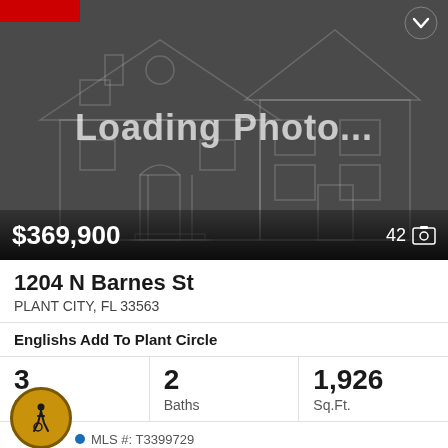[Figure (photo): Loading photo placeholder showing a dark gray background with a faint house outline wireframe and the text 'Loading Photo...' in light gray. Price overlay showing $369,900 at bottom left and '42' with camera icon at bottom right.]
1204 N Barnes St
PLANT CITY, FL 33563
Englishs Add To Plant Circle
3 Beds
2 Baths
1,926 Sq.Ft.
MLS #: T3399729